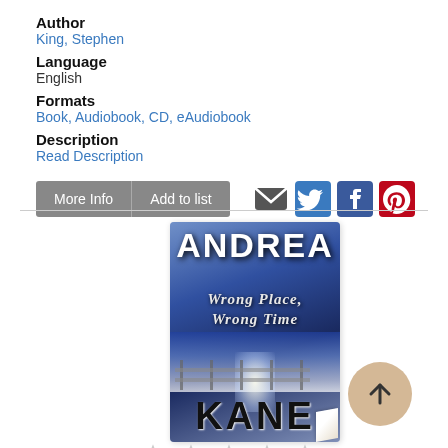Author
King, Stephen
Language
English
Formats
Book, Audiobook, CD, eAudiobook
Description
Read Description
[Figure (illustration): Book cover for 'Wrong Place, Wrong Time' by Andrea Kane, showing a dark blue wintery scene with the author name ANDREA at top and KANE at bottom in large black letters, with the title in italic serif font in the middle]
[Figure (other): Five empty star rating icons]